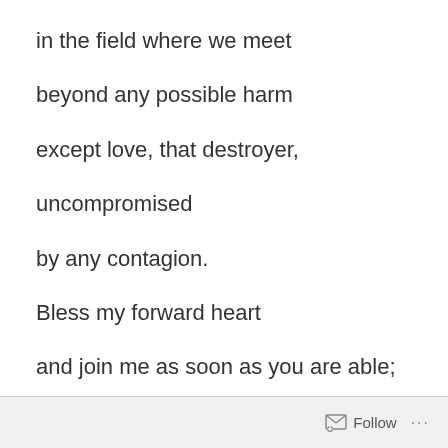in the field where we meet
beyond any possible harm
except love, that destroyer,
uncompromised
by any contagion.
Bless my forward heart
and join me as soon as you are able;
I'll still be here,
grinning like the fool,
Follow ...